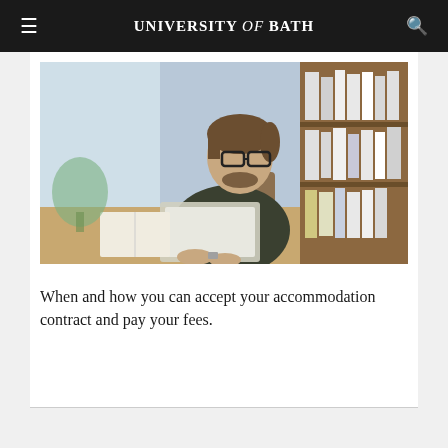UNIVERSITY of BATH
[Figure (photo): A young man with glasses and beard sitting at a desk in a library, working on a laptop. Bookshelves visible in the background on the right.]
When and how you can accept your accommodation contract and pay your fees.